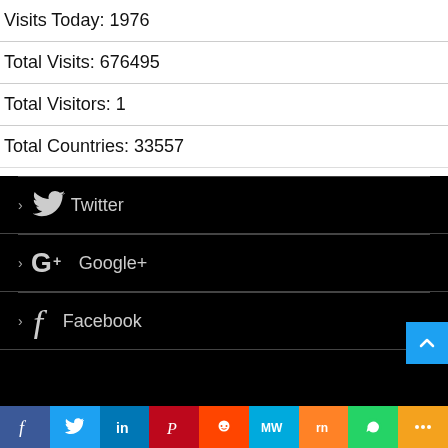Visits Today: 1976
Total Visits: 676495
Total Visitors: 1
Total Countries: 33557
> Twitter
> Google+
> Facebook
f  Twitter  in  Pinterest  Reddit  MW  Mix  WhatsApp  More